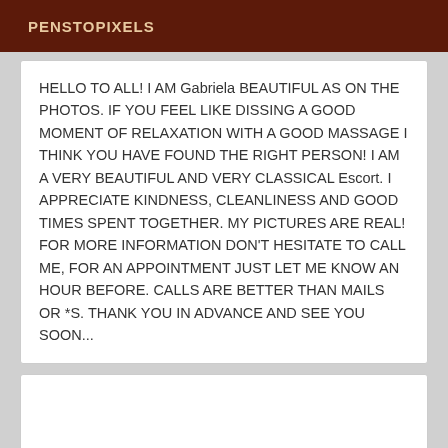PENSTOPIXELS
HELLO TO ALL! I AM Gabriela BEAUTIFUL AS ON THE PHOTOS. IF YOU FEEL LIKE DISSING A GOOD MOMENT OF RELAXATION WITH A GOOD MASSAGE I THINK YOU HAVE FOUND THE RIGHT PERSON! I AM A VERY BEAUTIFUL AND VERY CLASSICAL Escort. I APPRECIATE KINDNESS, CLEANLINESS AND GOOD TIMES SPENT TOGETHER. MY PICTURES ARE REAL! FOR MORE INFORMATION DON'T HESITATE TO CALL ME, FOR AN APPOINTMENT JUST LET ME KNOW AN HOUR BEFORE. CALLS ARE BETTER THAN MAILS OR *S. THANK YOU IN ADVANCE AND SEE YOU SOON...